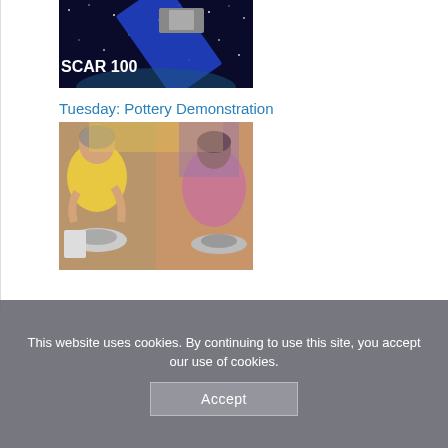[Figure (photo): A satellite (OSCAR 100) in space with stars and Earth in background, with text 'SCAR 100' visible]
Tuesday: Pottery Demonstration
[Figure (photo): Two people wearing yellow aprons doing pottery, working at pottery wheels with clay]
This website uses cookies. By continuing to use this site, you accept our use of cookies.